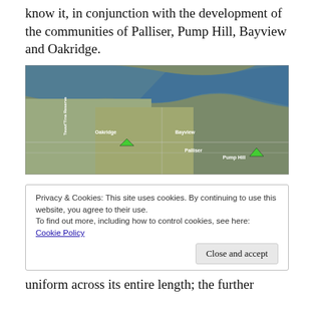know it, in conjunction with the development of the communities of Palliser, Pump Hill, Bayview and Oakridge.
[Figure (map): Aerial satellite map showing the communities of Oakridge, Bayview, Palliser, Pump Hill, and Tsuut'ina Reserve with green arrow markers indicating key locations.]
Privacy & Cookies: This site uses cookies. By continuing to use this website, you agree to their use.
To find out more, including how to control cookies, see here: Cookie Policy
[Close and accept button]
uniform across its entire length; the further